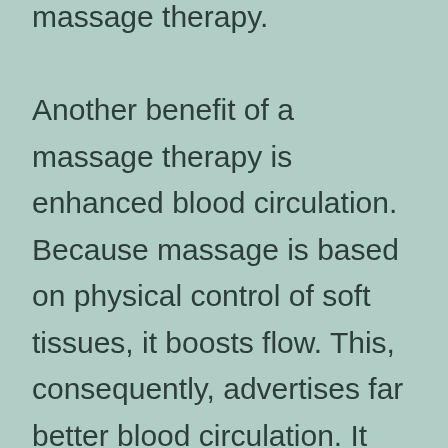massage therapy. Another benefit of a massage therapy is enhanced blood circulation. Because massage is based on physical control of soft tissues, it boosts flow. This, consequently, advertises far better blood circulation. It likewise minimizes blood pressure. If you're fretted about getting a massage, it is best to consult your doctor prior to picking a massage therapist. Ultimately, a massage therapy is useful for your wellness. As well as there are several other advantages! For beginners, it can reduce stress and anxiety.